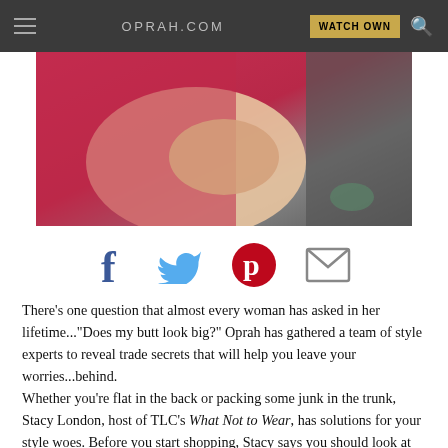OPRAH.COM  WATCH OWN
[Figure (photo): Close-up photo of a woman in a red/pink dress with hands clasped on her lap, seated in a dark chair]
[Figure (infographic): Social sharing icons row: Facebook (f), Twitter (bird), Pinterest (p), Email (envelope)]
There's one question that almost every woman has asked in her lifetime..."Does my butt look big?" Oprah has gathered a team of style experts to reveal trade secrets that will help you leave your worries...behind.
Whether you're flat in the back or packing some junk in the trunk, Stacy London, host of TLC's What Not to Wear, has solutions for your style woes. Before you start shopping, Stacy says you should look at your